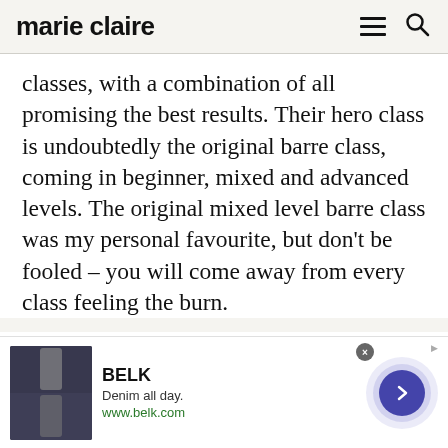marie claire
classes, with a combination of all promising the best results. Their hero class is undoubtedly the original barre class, coming in beginner, mixed and advanced levels. The original mixed level barre class was my personal favourite, but don't be fooled – you will come away from every class feeling the burn.
DEFINE Mat classes incorporate hand and ankle weights to 'intensify muscular structure
[Figure (screenshot): Advertisement banner for BELK - Denim all day. www.belk.com with navigation arrow button]